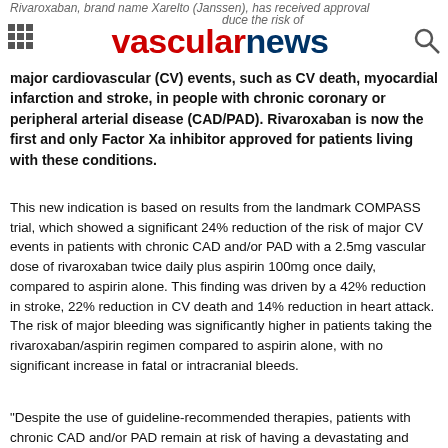Rivaroxaban, brand name Xarelto (Janssen), has received approval the US Food and Drug Administration to reduce the risk of major cardiovascular (CV) events, such as CV death, myocardial infarction and stroke, in people with chronic coronary or peripheral arterial disease (CAD/PAD). Rivaroxaban is now the first and only Factor Xa inhibitor approved for patients living with these conditions.
This new indication is based on results from the landmark COMPASS trial, which showed a significant 24% reduction of the risk of major CV events in patients with chronic CAD and/or PAD with a 2.5mg vascular dose of rivaroxaban twice daily plus aspirin 100mg once daily, compared to aspirin alone. This finding was driven by a 42% reduction in stroke, 22% reduction in CV death and 14% reduction in heart attack. The risk of major bleeding was significantly higher in patients taking the rivaroxaban/aspirin regimen compared to aspirin alone, with no significant increase in fatal or intracranial bleeds.
"Despite the use of guideline-recommended therapies, patients with chronic CAD and/or PAD remain at risk of having a devastating and